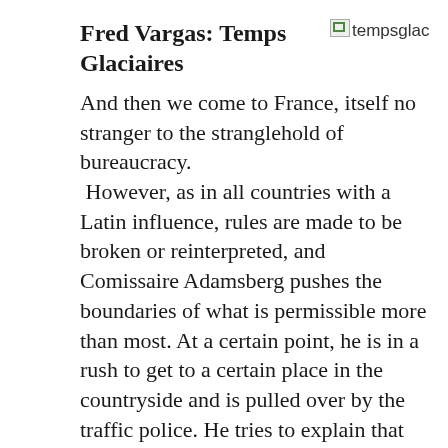Fred Vargas: Temps Glaciaires
[Figure (photo): Broken image placeholder with alt text 'tempsglac']
And then we come to France, itself no stranger to the stranglehold of bureaucracy. However, as in all countries with a Latin influence, rules are made to be broken or reinterpreted, and Comissaire Adamsberg pushes the boundaries of what is permissible more than most. At a certain point, he is in a rush to get to a certain place in the countryside and is pulled over by the traffic police. He tries to explain that it's an emergency, but the